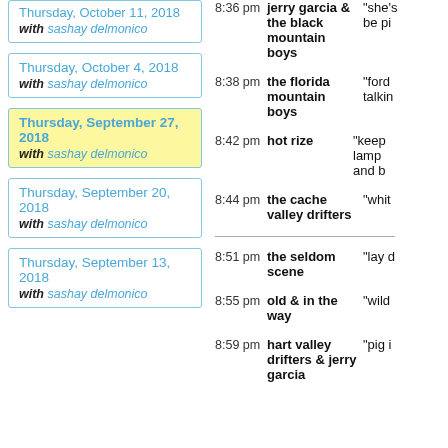Thursday, October 11, 2018 with sashay delmonico
Thursday, October 4, 2018 with sashay delmonico
Thursday, September 27, 2018 with sashay delmonico
Thursday, September 20, 2018 with sashay delmonico
Thursday, September 13, 2018 with sashay delmonico
8:36 pm  jerry garcia & the black mountain boys  "she's...be pi...
8:38 pm  the florida mountain boys  "ford... talkin...
8:42 pm  hot rize  "keep... lamp... and b...
8:44 pm  the cache valley drifters  "whit...
8:51 pm  the seldom scene  "lay d...
8:55 pm  old & in the way  "wild...
8:59 pm  hart valley drifters & jerry garcia  "pig i...